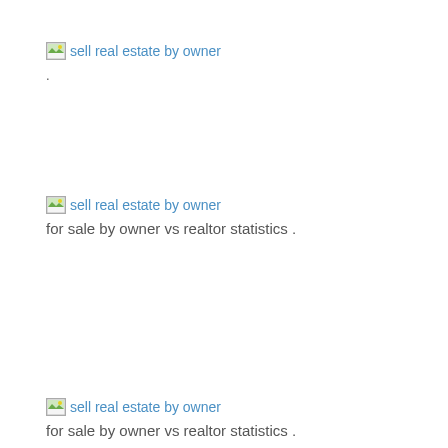[Figure (illustration): Broken image placeholder with alt text 'sell real estate by owner']
.
[Figure (illustration): Broken image placeholder with alt text 'sell real estate by owner']
for sale by owner vs realtor statistics .
[Figure (illustration): Broken image placeholder with alt text 'sell real estate by owner']
how to sell your home quickly and easily .